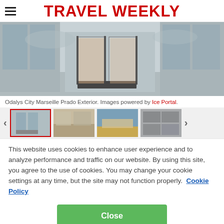TRAVEL WEEKLY
[Figure (photo): Exterior photo of Odalys City Marseille Prado showing glass entrance doors and reflective facade]
Odalys City Marseille Prado Exterior. Images powered by Ice Portal.
[Figure (photo): Thumbnail gallery with 4 hotel photos; first thumbnail selected with red border]
This website uses cookies to enhance user experience and to analyze performance and traffic on our website. By using this site, you agree to the use of cookies. You may change your cookie settings at any time, but the site may not function properly.  Cookie Policy
Close